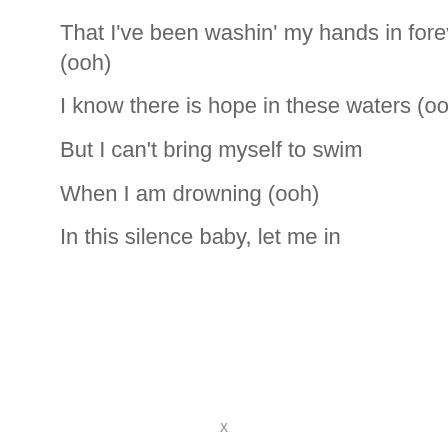That I've been washin' my hands in forever (ooh)
I know there is hope in these waters (ooh)
But I can't bring myself to swim
When I am drowning (ooh)
In this silence baby, let me in
x